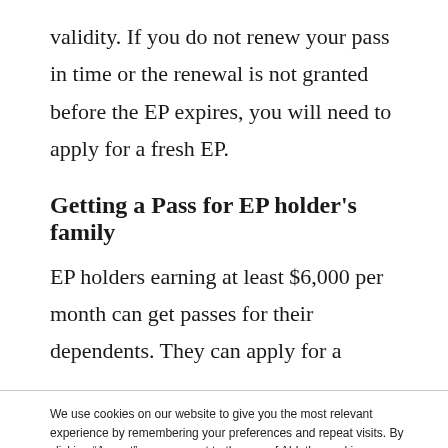validity. If you do not renew your pass in time or the renewal is not granted before the EP expires, you will need to apply for a fresh EP.
Getting a Pass for EP holder's family
EP holders earning at least $6,000 per month can get passes for their dependents. They can apply for a
We use cookies on our website to give you the most relevant experience by remembering your preferences and repeat visits. By clicking “Accept”, you consent to the use of ALL the cookies. Do not sell my personal information.